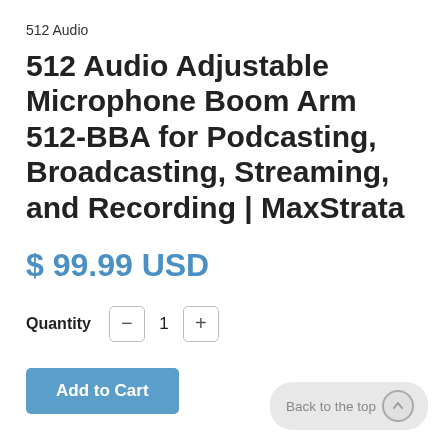512 Audio
512 Audio Adjustable Microphone Boom Arm 512-BBA for Podcasting, Broadcasting, Streaming, and Recording | MaxStrata
$ 99.99 USD
Quantity  −  1  +
Add to Cart
Back to the top